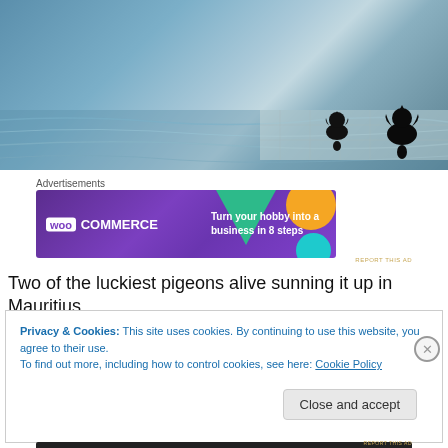[Figure (photo): Two pigeons (silhouettes) standing near water, likely at a pool or waterfront in Mauritius. Blue water with reflections visible.]
Advertisements
[Figure (screenshot): WooCommerce advertisement banner: 'Turn your hobby into a business in 8 steps' on purple background with colorful geometric shapes]
Two of the luckiest pigeons alive sunning it up in Mauritius.
Privacy & Cookies: This site uses cookies. By continuing to use this website, you agree to their use.
To find out more, including how to control cookies, see here: Cookie Policy
Close and accept